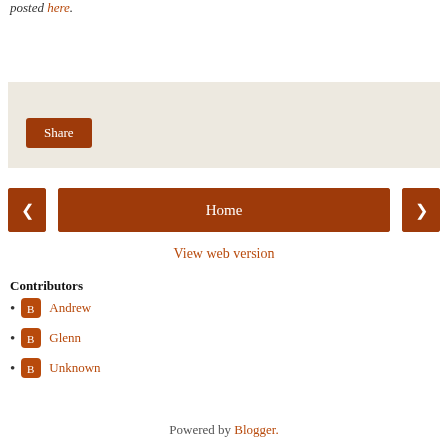posted here.
[Figure (other): Share widget area with beige background and Share button]
[Figure (other): Navigation row with left arrow button, Home button, and right arrow button]
View web version
Contributors
Andrew
Glenn
Unknown
Powered by Blogger.